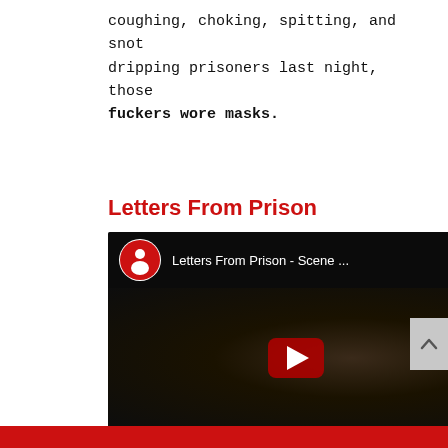coughing, choking, spitting, and snot dripping prisoners last night, those fuckers wore masks.
Letters From Prison
[Figure (screenshot): YouTube video embed showing 'Letters From Prison - Scene ...' with a play button overlay, channel logo, and video controls showing 00:00 / 01:51]